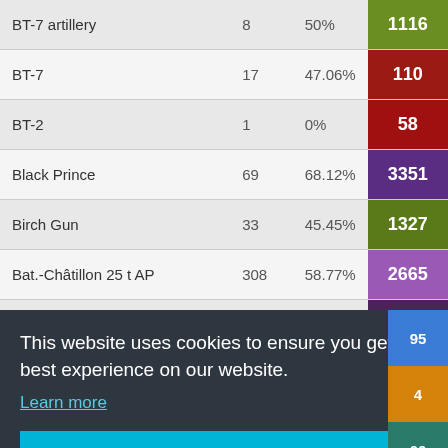| Vehicle | Battles | Win Rate | Score |
| --- | --- | --- | --- |
| BT-7 artillery | 8 | 50% | 1116 |
| BT-7 | 17 | 47.06% | 110 |
| BT-2 | 1 | 0% | 58 |
| Black Prince | 69 | 68.12% | 3351 |
| Birch Gun | 33 | 45.45% | 1327 |
| Bat.-Châtillon 25 t AP | 308 | 58.77% | 2665 |
| Bat.-Châtillon 25 t | 1193 | 63.29% | 4139 |
| APL V39 | 59 | 64% | 3306 |
This website uses cookies to ensure you get the best experience on our website.
Learn more
Got it!